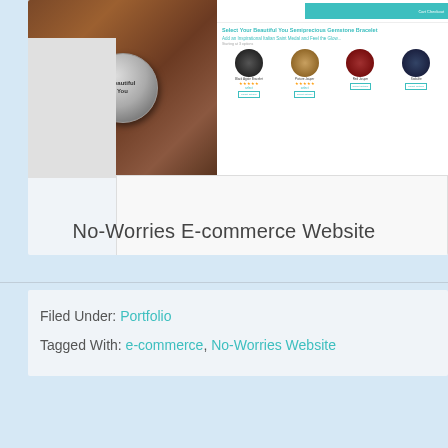[Figure (screenshot): E-commerce website screenshot showing 'Beautiful You' semiprecious gemstone bracelets with product grid and teal navigation bar]
No-Worries E-commerce Website
Filed Under: Portfolio
Tagged With: e-commerce, No-Worries Website